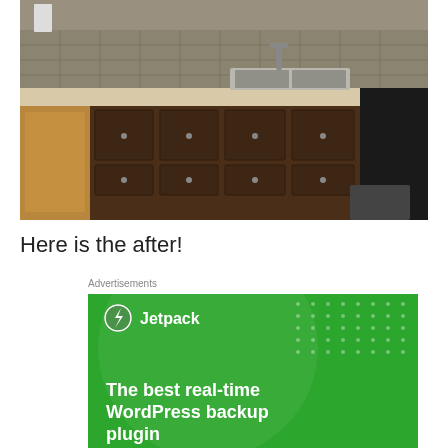[Figure (photo): Kitchen interior photo showing dark wood lower cabinets with light beige countertops, a stainless steel sink with faucet, tile backsplash, and hardwood flooring.]
Here is the after!
Advertisements
[Figure (screenshot): Jetpack advertisement banner on green background showing Jetpack logo and text 'The best real-time WordPress backup plugin']